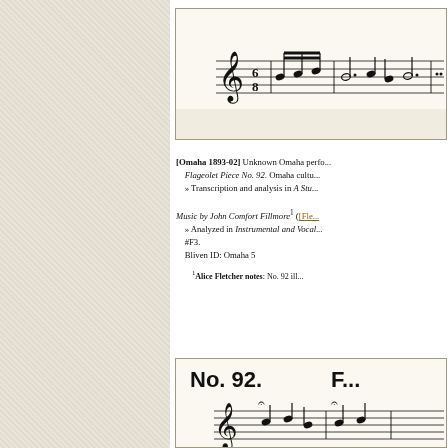[Figure (illustration): Sheet music excerpt showing a musical staff with treble clef, time signature (6/8), and musical notes including half notes, quarter notes, and dotted notes.]
[Omaha 1893-02] Unknown Omaha performer. Flageolet Piece No. 92. Omaha cultural context. » Transcription and analysis in A Stu... Music by John Comfort Fillmore¹ ([Fle... » Analyzed in Instrumental and Vocal... #F3. Bliven ID: Omaha 5
¹Alice Fletcher notes: No. 92 ill...
[Figure (illustration): Sheet music excerpt showing No. 92 with treble clef, musical notes with fermatas, and musical bars at the bottom of the page.]